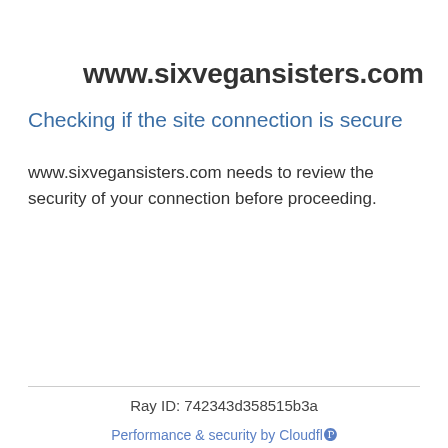www.sixvegansisters.com
Checking if the site connection is secure
www.sixvegansisters.com needs to review the security of your connection before proceeding.
Ray ID: 742343d358515b3a